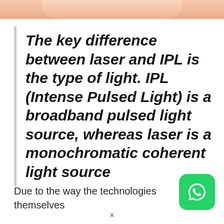[Figure (photo): Partial photo of skin/person at top of page, cropped]
The key difference between laser and IPL is the type of light. IPL (Intense Pulsed Light) is a broadband pulsed light source, whereas laser is a monochromatic coherent light source
Due to the way the technologies themselves